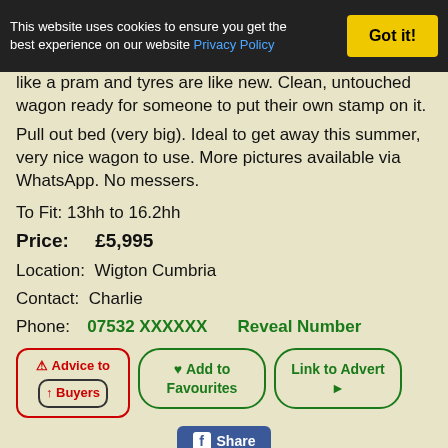This website uses cookies to ensure you get the best experience on our website Privacy Policy | Got it!
like a pram and tyres are like new. Clean, untouched wagon ready for someone to put their own stamp on it.
Pull out bed (very big). Ideal to get away this summer, very nice wagon to use. More pictures available via WhatsApp. No messers.
To Fit: 13hh to 16.2hh
Price: £5,995
Location: Wigton Cumbria
Contact: Charlie
Phone: 07532 XXXXXX   Reveal Number